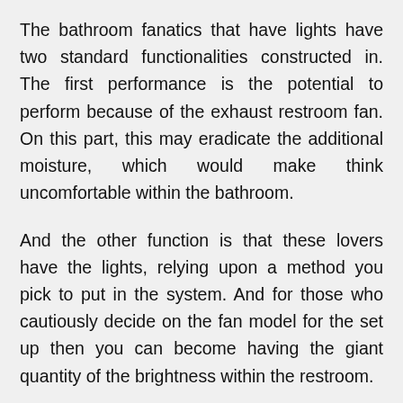The bathroom fanatics that have lights have two standard functionalities constructed in. The first performance is the potential to perform because of the exhaust restroom fan. On this part, this may eradicate the additional moisture, which would make think uncomfortable within the bathroom.
And the other function is that these lovers have the lights, relying upon a method you pick to put in the system. And for those who cautiously decide on the fan model for the set up then you can become having the giant quantity of the brightness within the restroom.
Toilet mild performs because of the exhaust fan. And the potentially stinky and murky air which might or else gather in the bathroom is eradicated by using utilizing the